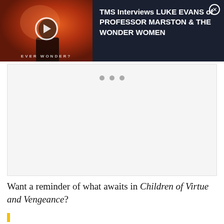[Figure (screenshot): Video thumbnail ad: dark navy background with movie poster image of a man in dramatic orange/red lighting with text 'EVER WONDER?' overlaid. A circular play button is centered on the image. Adjacent text reads 'TMS Interviews LUKE EVANS of PROFESSOR MARSTON & THE WONDER WOMEN' with a close (X) button.]
[Figure (other): Carousel/slider area with three gray dot indicators at top and empty light gray content area below.]
Want a reminder of what awaits in Children of Virtue and Vengeance?